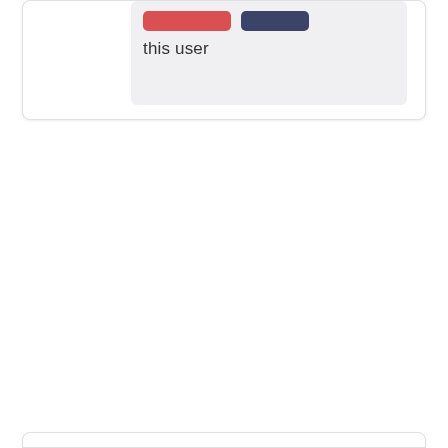[Figure (screenshot): Top portion of a UI card with a light gray inner panel containing two buttons (red and navy/dark blue) and the text 'this user' below them. The card has a white background with a subtle border and shadow.]
this user
[Figure (screenshot): Bottom edge of another UI card, showing only the top rounded border of a white card at the very bottom of the page.]